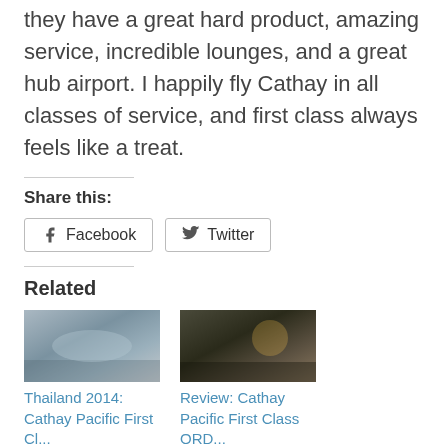they have a great hard product, amazing service, incredible lounges, and a great hub airport. I happily fly Cathay in all classes of service, and first class always feels like a treat.
Share this:
[Figure (other): Facebook share button]
[Figure (other): Twitter share button]
Related
[Figure (photo): Thumbnail image for Thailand 2014: Cathay Pacific First Class article]
Thailand 2014: Cathay Pacific First Cl...
[Figure (photo): Thumbnail image for Review: Cathay Pacific First Class ORD article]
Review: Cathay Pacific First Class ORD...